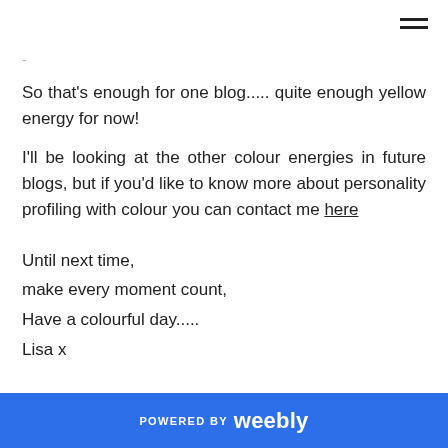-
So that's enough for one blog..... quite enough yellow energy for now!
I'll be looking at the other colour energies in future blogs, but if you'd like to know more about personality profiling with colour you can contact me here
Until next time,
make every moment count,
Have a colourful day.....
Lisa x
POWERED BY weebly